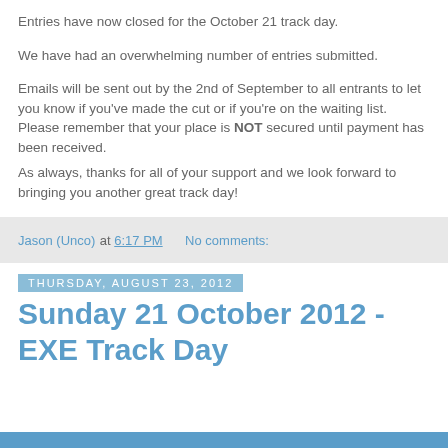Entries have now closed for the October 21 track day.
We have had an overwhelming number of entries submitted.
Emails will be sent out by the 2nd of September to all entrants to let you know if you've made the cut or if you're on the waiting list.
Please remember that your place is NOT secured until payment has been received.
As always, thanks for all of your support and we look forward to bringing you another great track day!
Jason (Unco) at 6:17 PM   No comments:
Thursday, August 23, 2012
Sunday 21 October 2012 - EXE Track Day